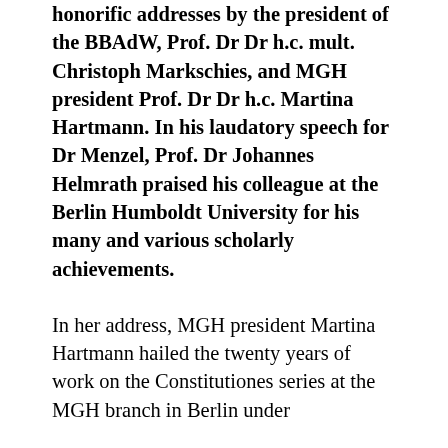honorific addresses by the president of the BBAdW, Prof. Dr Dr h.c. mult. Christoph Markschies, and MGH president Prof. Dr Dr h.c. Martina Hartmann. In his laudatory speech for Dr Menzel, Prof. Dr Johannes Helmrath praised his colleague at the Berlin Humboldt University for his many and various scholarly achievements.
In her address, MGH president Martina Hartmann hailed the twenty years of work on the Constitutiones series at the MGH branch in Berlin under